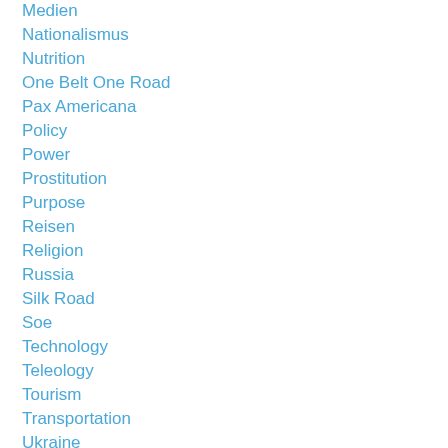Medien
Nationalismus
Nutrition
One Belt One Road
Pax Americana
Policy
Power
Prostitution
Purpose
Reisen
Religion
Russia
Silk Road
Soe
Technology
Teleology
Tourism
Transportation
Ukraine
Umweltverschmutzung
Urbanisation